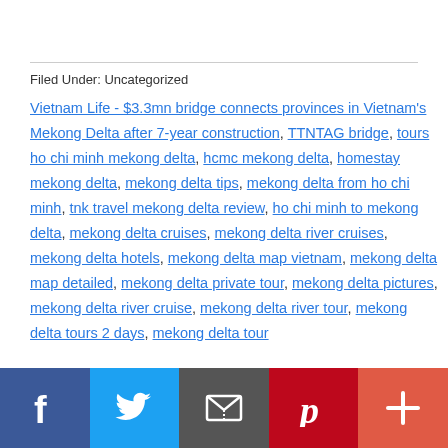Filed Under: Uncategorized
Vietnam Life - $3.3mn bridge connects provinces in Vietnam's Mekong Delta after 7-year construction, TTNTAG bridge, tours ho chi minh mekong delta, hcmc mekong delta, homestay mekong delta, mekong delta tips, mekong delta from ho chi minh, tnk travel mekong delta review, ho chi minh to mekong delta, mekong delta cruises, mekong delta river cruises, mekong delta hotels, mekong delta map vietnam, mekong delta map detailed, mekong delta private tour, mekong delta pictures, mekong delta river cruise, mekong delta river tour, mekong delta tours 2 days, mekong delta tour
Social share bar: Facebook, Twitter, Email, Pinterest, More